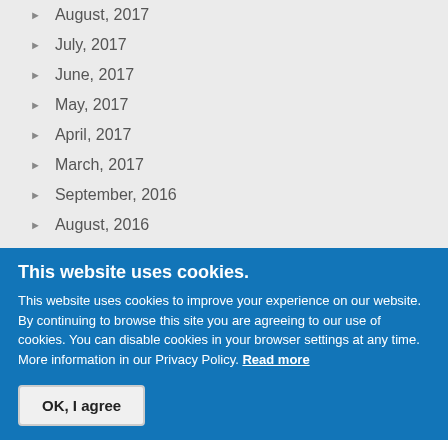August, 2017
July, 2017
June, 2017
May, 2017
April, 2017
March, 2017
September, 2016
August, 2016
This website uses cookies.
This website uses cookies to improve your experience on our website. By continuing to browse this site you are agreeing to our use of cookies. You can disable cookies in your browser settings at any time. More information in our Privacy Policy. Read more